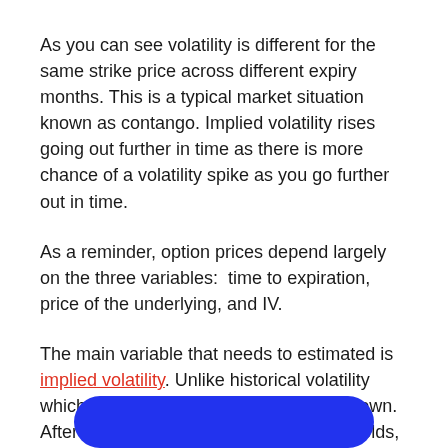As you can see volatility is different for the same strike price across different expiry months. This is a typical market situation known as contango. Implied volatility rises going out further in time as there is more chance of a volatility spike as you go further out in time.
As a reminder, option prices depend largely on the three variables:  time to expiration, price of the underlying, and IV.
The main variable that needs to estimated is implied volatility. Unlike historical volatility which is known, implied volatility is unknown. After all, no one knows what the future holds, so no one knows how volatile the stock will be over the life of the option. The best we can do is guess.
[Figure (other): Blue rounded rectangle button at bottom of page]